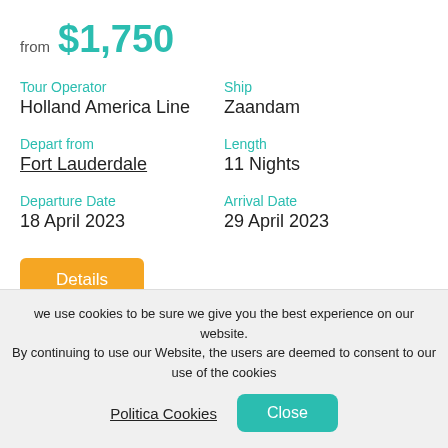from $1,750
Tour Operator
Holland America Line
Ship
Zaandam
Depart from
Fort Lauderdale
Length
11 Nights
Departure Date
18 April 2023
Arrival Date
29 April 2023
Details
Holland America Line:
we use cookies to be sure we give you the best experience on our website. By continuing to use our Website, the users are deemed to consent to our use of the cookies
Politica Cookies
Close